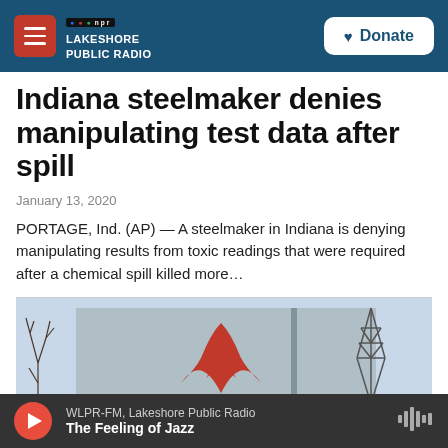NPR Lakeshore Public Radio — Donate
Indiana steelmaker denies manipulating test data after spill
January 13, 2020
PORTAGE, Ind. (AP) — A steelmaker in Indiana is denying manipulating results from toxic readings that were required after a chemical spill killed more…
[Figure (photo): Exterior photo of a steel mill building with a large red stylized logo on the facade and an electrical transmission tower visible on the right side, against a light sky with bare trees.]
WLPR-FM, Lakeshore Public Radio — The Feeling of Jazz